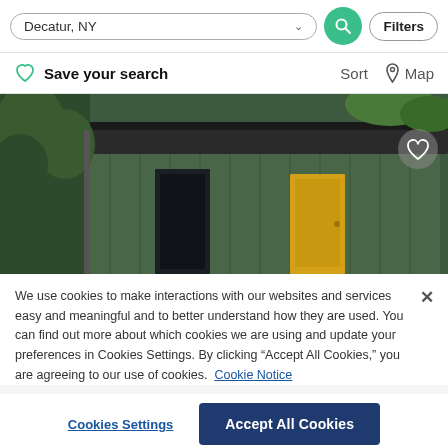Decatur, NY
Filters
Save your search
Sort   Map
[Figure (photo): Exterior photo of a small house or outbuilding with dark green vertical siding, a yellow front door, dark roof overhang, and trees in background.]
We use cookies to make interactions with our websites and services easy and meaningful and to better understand how they are used. You can find out more about which cookies we are using and update your preferences in Cookies Settings. By clicking “Accept All Cookies,” you are agreeing to our use of cookies.  Cookie Notice
Cookies Settings
Accept All Cookies